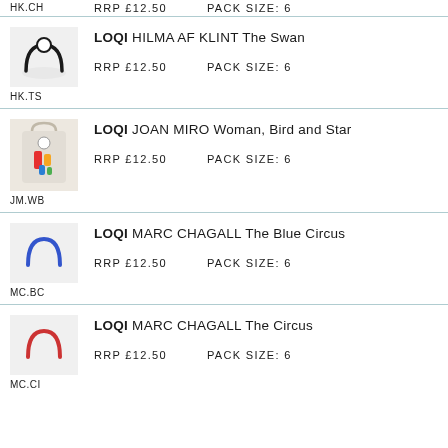RRP £12.50   Pack Size: 6
HK.CH
LOQI HILMA AF KLINT The Swan
RRP £12.50   Pack Size: 6
HK.TS
LOQI JOAN MIRO Woman, Bird and Star
RRP £12.50   Pack Size: 6
JM.WB
LOQI MARC CHAGALL The Blue Circus
RRP £12.50   Pack Size: 6
MC.BC
LOQI MARC CHAGALL The Circus
RRP £12.50   Pack Size: 6
MC.CI